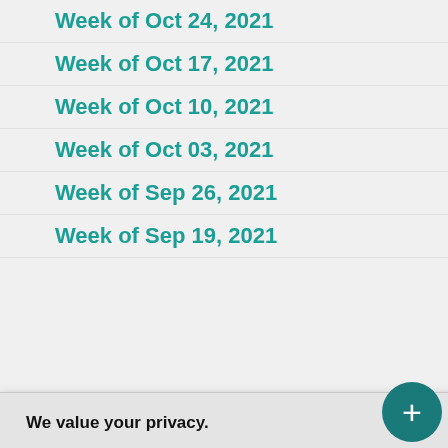Week of Oct 24, 2021
Week of Oct 17, 2021
Week of Oct 10, 2021
Week of Oct 03, 2021
Week of Sep 26, 2021
Week of Sep 19, 2021
We value your privacy.
TechTarget and its partners employ cookies to improve your experience on our site, to analyze traffic and performance, and to serve personalized content and advertising that are relevant to your professional interests. You can manage your settings at any time. Please view our Privacy Policy for more information